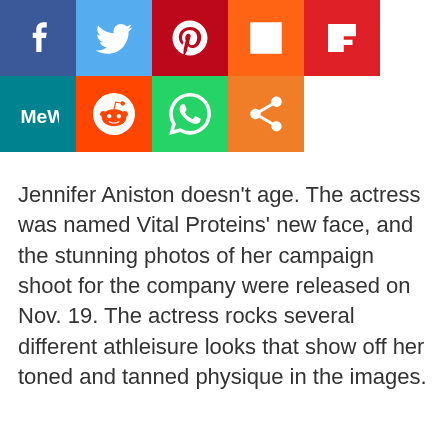[Figure (other): Row of social media share buttons: Facebook (blue), Twitter (light blue), Pinterest (red), Mix (orange), Flipboard (red), MeWe (teal), Reddit (orange-red), WhatsApp (green), and a general share button (orange)]
Jennifer Aniston doesn’t age. The actress was named Vital Proteins’ new face, and the stunning photos of her campaign shoot for the company were released on Nov. 19. The actress rocks several different athleisure looks that show off her toned and tanned physique in the images.